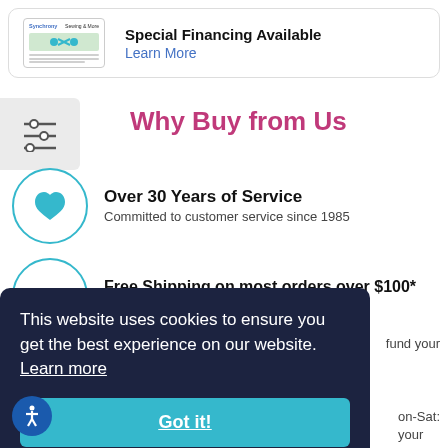[Figure (other): Synchrony Sewing & More credit card banner with scissors graphic]
Special Financing Available
Learn More
Why Buy from Us
[Figure (other): Sliders/filter icon]
[Figure (other): Teal heart icon in circle]
Over 30 Years of Service
Committed to customer service since 1985
[Figure (other): Teal truck/delivery icon in circle]
Free Shipping on most orders over $100*
Plus same day shipping on many items
fund your
This website uses cookies to ensure you get the best experience on our website.
Learn more
Got it!
on-Sat:
your
shopping experience enjoyable & efficient*